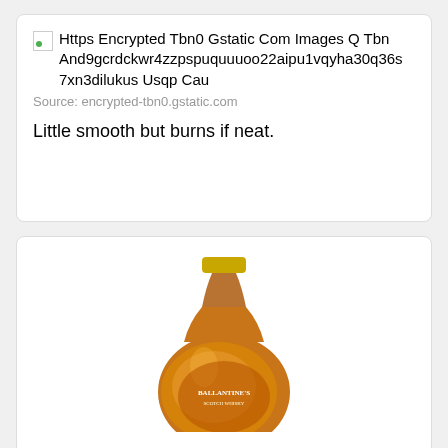[Figure (other): Broken image placeholder with alt text: Https Encrypted Tbn0 Gstatic Com Images Q Tbn And9gcrdckwr4zzpspuquuuoo22aipu1vqyha30q36s 7xn3dilukus Usqp Cau]
Source: encrypted-tbn0.gstatic.com
Little smooth but burns if neat.
[Figure (photo): Photo of a round whisky bottle (Ballantine's) with amber liquid, gold cap, visible label, cut off at bottom.]